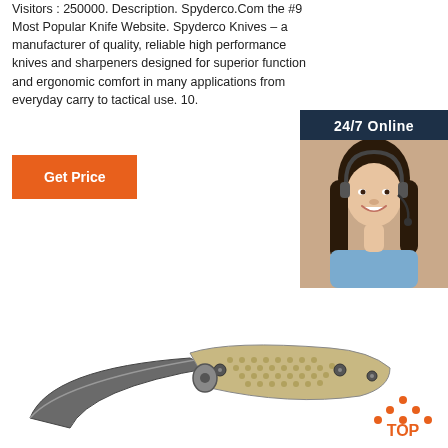Visitors : 250000. Description. Spyderco.Com the #9 Most Popular Knife Website. Spyderco Knives – a manufacturer of quality, reliable high performance knives and sharpeners designed for superior function and ergonomic comfort in many applications from everyday carry to tactical use. 10.
Get Price
[Figure (photo): 24/7 Online support agent - woman with headset smiling, sidebar widget with 'Click here for free chat!' and QUOTATION button]
[Figure (photo): Folding knife with tan/beige textured handle scales and dark blade, shown partially open. TOP badge with orange dots in upper right.]